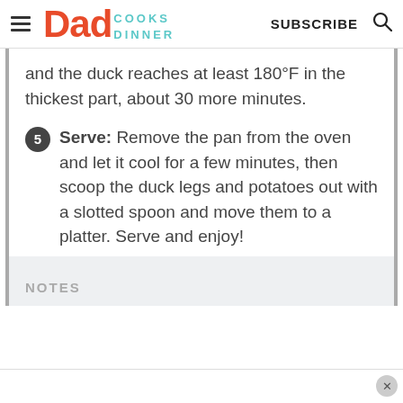Dad Cooks Dinner | SUBSCRIBE
and the duck reaches at least 180°F in the thickest part, about 30 more minutes.
Serve: Remove the pan from the oven and let it cool for a few minutes, then scoop the duck legs and potatoes out with a slotted spoon and move them to a platter. Serve and enjoy!
NOTES